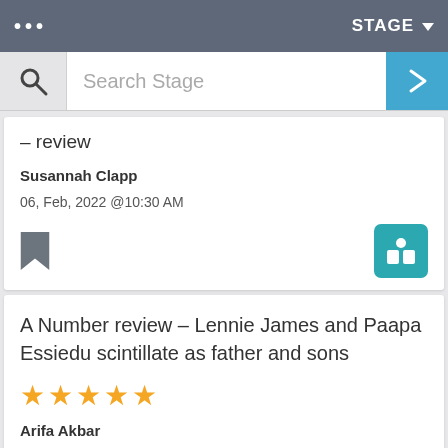... STAGE
Search Stage
– review
Susannah Clapp
06, Feb, 2022 @10:30 AM
A Number review – Lennie James and Paapa Essiedu scintillate as father and sons
★★★★★
Arifa Akbar
02, Feb, 2022 @1:06 PM